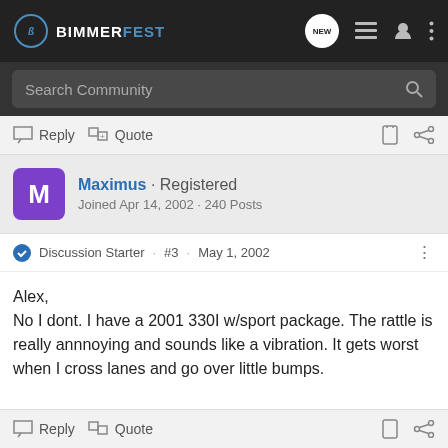BIMMERFEST
Search Community
Reply   Quote
Maximus · Registered
Joined Apr 14, 2002 · 240 Posts
Discussion Starter · #3 · May 1, 2002
Alex,
No I dont. I have a 2001 330I w/sport package. The rattle is really annnoying and sounds like a vibration. It gets worst when I cross lanes and go over little bumps.
Reply   Quote